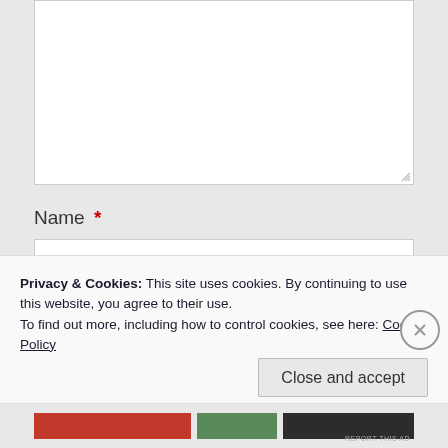[Figure (screenshot): A white textarea input box (comment form field), mostly empty, with a resize handle at the bottom-right corner.]
Name *
[Figure (screenshot): A white single-line text input box for the Name field.]
Privacy & Cookies: This site uses cookies. By continuing to use this website, you agree to their use.
To find out more, including how to control cookies, see here: Cookie Policy
Close and accept